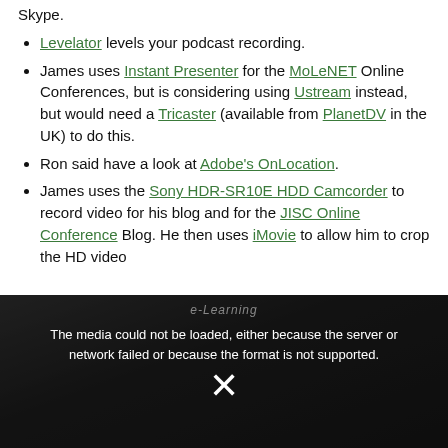Skype.
Levelator levels your podcast recording.
James uses Instant Presenter for the MoLeNET Online Conferences, but is considering using Ustream instead, but would need a Tricaster (available from PlanetDV in the UK) to do this.
Ron said have a look at Adobe’s OnLocation.
James uses the Sony HDR-SR10E HDD Camcorder to record video for his blog and for the JISC Online Conference Blog. He then uses iMovie to allow him to crop the HD video
[Figure (screenshot): Video player showing error message: 'The media could not be loaded, either because the server or network failed or because the format is not supported.' with an X symbol indicating playback failure. Background shows a blurry conference/e-learning scene.]